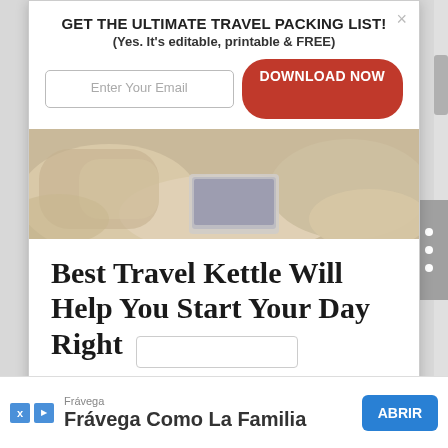GET THE ULTIMATE TRAVEL PACKING LIST! (Yes. It's editable, printable & FREE)
Enter Your Email
DOWNLOAD NOW
[Figure (photo): Photo of travel items including pillows and a tablet/device on a beige background]
Best Travel Kettle Will Help You Start Your Day Right
Can't face a day of sightseeing without your morning cup of tea or coffee? Our readers recommend the best travel kettle to start your day the right way!
Frávega Como La Familia
ABRIR